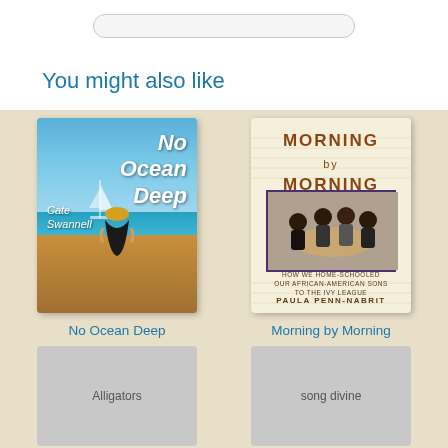You might also like
[Figure (illustration): Book cover for 'No Ocean Deep' by Cate Swannell showing a woman in a hat sitting on a dock looking at the sea with a sailboat in the background]
No Ocean Deep
[Figure (illustration): Book cover for 'Morning by Morning' by Paula Penn-Nabrit showing title text and a photo of people sitting around a table]
Morning by Morning
Alligators
song divine